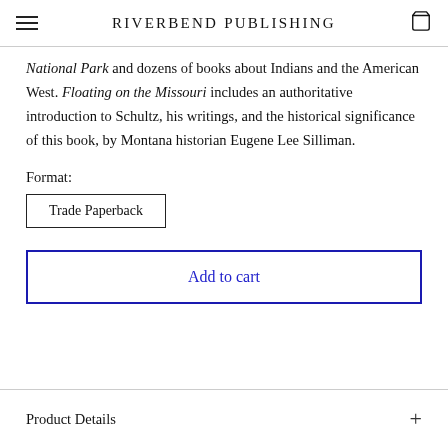RIVERBEND PUBLISHING
National Park and dozens of books about Indians and the American West. Floating on the Missouri includes an authoritative introduction to Schultz, his writings, and the historical significance of this book, by Montana historian Eugene Lee Silliman.
Format:
Trade Paperback
Add to cart
Product Details